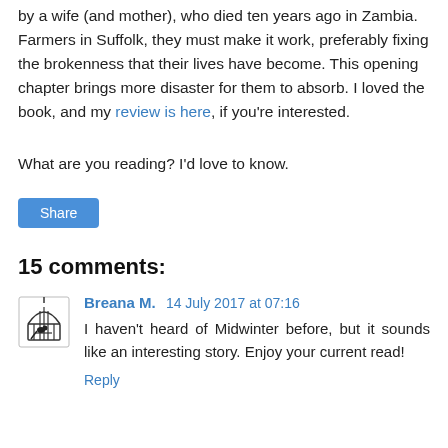by a wife (and mother), who died ten years ago in Zambia. Farmers in Suffolk, they must make it work, preferably fixing the brokenness that their lives have become. This opening chapter brings more disaster for them to absorb. I loved the book, and my review is here, if you're interested.
What are you reading? I'd love to know.
Share
15 comments:
Breana M.  14 July 2017 at 07:16
I haven't heard of Midwinter before, but it sounds like an interesting story. Enjoy your current read!
Reply